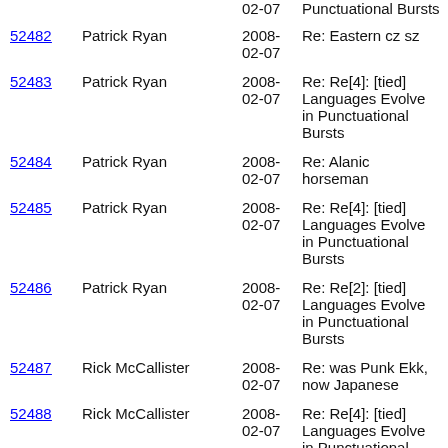52-07 | | 02-07 | Punctuational Bursts
52482 | Patrick Ryan | 2008-02-07 | Re: Eastern cz sz
52483 | Patrick Ryan | 2008-02-07 | Re: Re[4]: [tied] Languages Evolve in Punctuational Bursts
52484 | Patrick Ryan | 2008-02-07 | Re: Alanic horseman
52485 | Patrick Ryan | 2008-02-07 | Re: Re[4]: [tied] Languages Evolve in Punctuational Bursts
52486 | Patrick Ryan | 2008-02-07 | Re: Re[2]: [tied] Languages Evolve in Punctuational Bursts
52487 | Rick McCallister | 2008-02-07 | Re: was Punk Ekk, now Japanese
52488 | Rick McCallister | 2008-02-07 | Re: Re[4]: [tied] Languages Evolve in Punctuational Bursts
52489 | Brian M. Scott | 2008-02-07 | Re[2]: [tied] Eastern cz sz
52490 | Patrick Ryan | 2008-02-07 | Re: was Punk Ekk, now Japanese